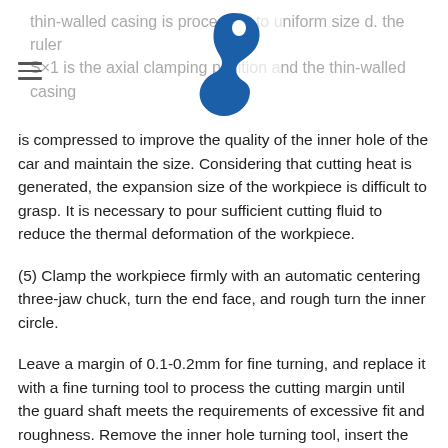thin-walled casing is processed to uniform size d. the ruler S×1 is the axial clamping position and the thin-walled casing
[Figure (logo): Blue stylized logo resembling a person or hook shape]
is compressed to improve the quality of the inner hole of the car and maintain the size. Considering that cutting heat is generated, the expansion size of the workpiece is difficult to grasp. It is necessary to pour sufficient cutting fluid to reduce the thermal deformation of the workpiece.
(5) Clamp the workpiece firmly with an automatic centering three-jaw chuck, turn the end face, and rough turn the inner circle.
Leave a margin of 0.1-0.2mm for fine turning, and replace it with a fine turning tool to process the cutting margin until the guard shaft meets the requirements of excessive fit and roughness. Remove the inner hole turning tool, insert the guard shaft to the front center, use the tailstock center to clamp according to the length requirements, change the